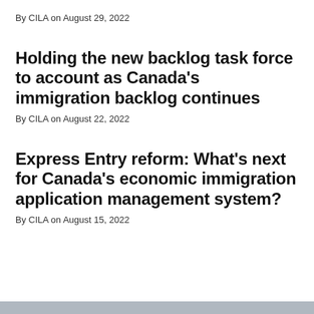By CILA on August 29, 2022
Holding the new backlog task force to account as Canada's immigration backlog continues
By CILA on August 22, 2022
Express Entry reform: What's next for Canada's economic immigration application management system?
By CILA on August 15, 2022